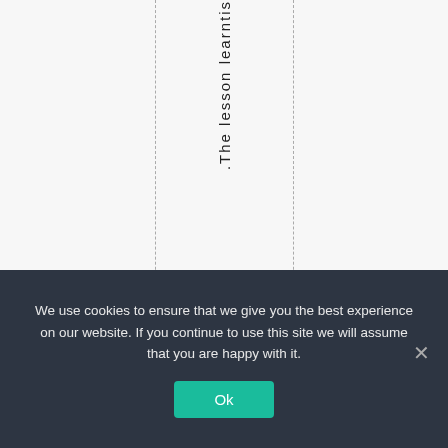[Figure (other): White/light grey page area with two vertical dashed lines and vertically oriented text reading '.The lesson learntis' rotated 90 degrees]
We use cookies to ensure that we give you the best experience on our website. If you continue to use this site we will assume that you are happy with it.